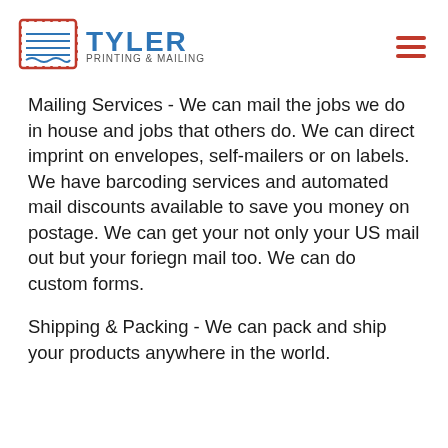[Figure (logo): Tyler Printing & Mailing logo with envelope icon and blue text]
Mailing Services - We can mail the jobs we do in house and jobs that others do. We can direct imprint on envelopes, self-mailers or on labels. We have barcoding services and automated mail discounts available to save you money on postage. We can get your not only your US mail out but your foriegn mail too. We can do custom forms.
Shipping & Packing - We can pack and ship your products anywhere in the world.